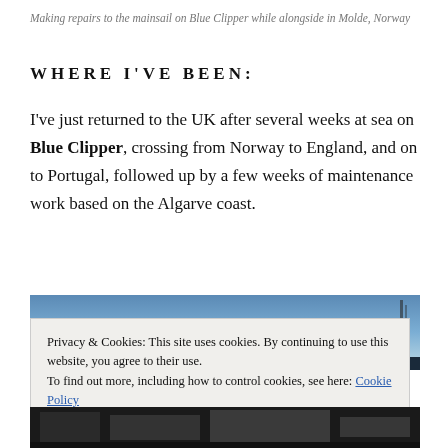Making repairs to the mainsail on Blue Clipper while alongside in Molde, Norway
WHERE I'VE BEEN:
I've just returned to the UK after several weeks at sea on Blue Clipper, crossing from Norway to England, and on to Portugal, followed up by a few weeks of maintenance work based on the Algarve coast.
[Figure (photo): Partial view of a boat/ship — blue sky visible in upper portion, bottom strip shows dark boat deck]
Privacy & Cookies: This site uses cookies. By continuing to use this website, you agree to their use.
To find out more, including how to control cookies, see here: Cookie Policy
Close and accept